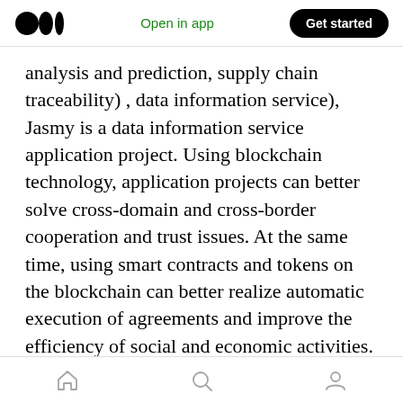Open in app | Get started
analysis and prediction, supply chain traceability) , data information service), Jasmy is a data information service application project. Using blockchain technology, application projects can better solve cross-domain and cross-border cooperation and trust issues. At the same time, using smart contracts and tokens on the blockchain can better realize automatic execution of agreements and improve the efficiency of social and economic activities. It is also the project area with the fastest growing market value in the blockchain industry.
Home | Search | Profile